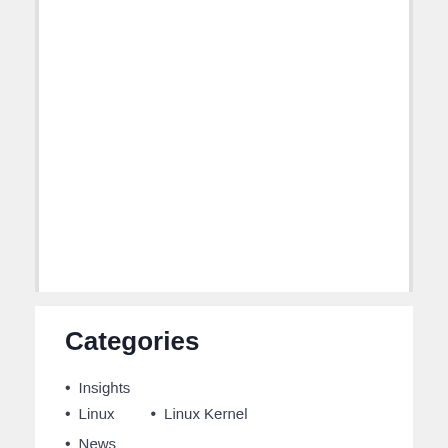Categories
Insights
Linux
Linux Kernel
News